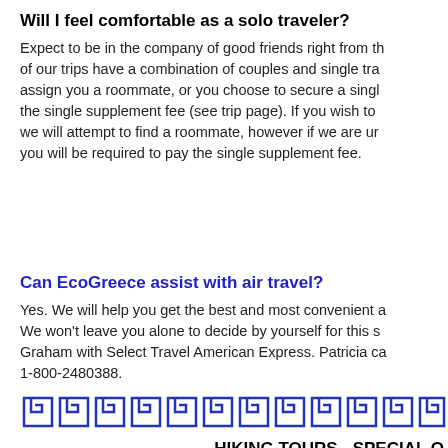Will I feel comfortable as a solo traveler?
Expect to be in the company of good friends right from the start. Most of our trips have a combination of couples and single travelers. We can assign you a roommate, or you choose to secure a single room and pay the single supplement fee (see trip page). If you wish to share a room, we will attempt to find a roommate, however if we are unable to do so you will be required to pay the single supplement fee.
Can EcoGreece assist with air travel?
Yes. We will help you get the best and most convenient air connections. We won't leave you alone to decide by yourself for this stressful process. Graham with Select Travel American Express. Patricia can be reached at 1-800-2480388.
[Figure (illustration): Greek meander/key pattern decorative border in blue]
HIKING TOURS - SPECIAL Q
How strenuous are the hikes and walks?
Basically all of our walking/hiking tours, cover an averag